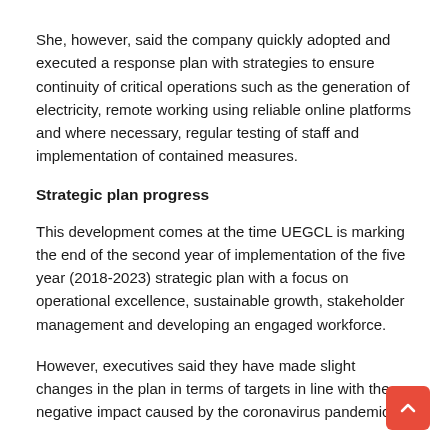She, however, said the company quickly adopted and executed a response plan with strategies to ensure continuity of critical operations such as the generation of electricity, remote working using reliable online platforms and where necessary, regular testing of staff and implementation of contained measures.
Strategic plan progress
This development comes at the time UEGCL is marking the end of the second year of implementation of the five year (2018-2023) strategic plan with a focus on operational excellence, sustainable growth, stakeholder management and developing an engaged workforce.
However, executives said they have made slight changes in the plan in terms of targets in line with the negative impact caused by the coronavirus pandemic.
The company's strategic plan is to achieve 1,300MW in line with government's aspirations of delivering key flagship projects of Isimba and Karuma that are directly and indirectly linked to job creation and growth of the economy in general.